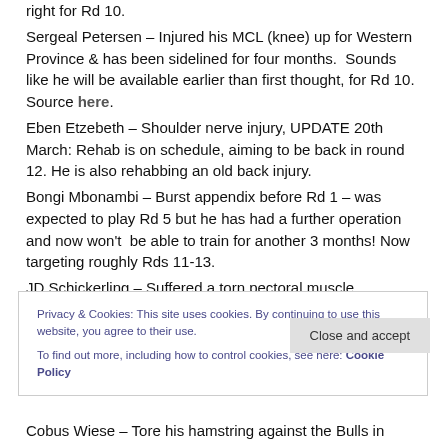right for Rd 10. Sergeal Petersen – Injured his MCL (knee) up for Western Province & has been sidelined for four months.  Sounds like he will be available earlier than first thought, for Rd 10. Source here. Eben Etzebeth – Shoulder nerve injury, UPDATE 20th March: Rehab is on schedule, aiming to be back in round 12. He is also rehabbing an old back injury. Bongi Mbonambi – Burst appendix before Rd 1 – was expected to play Rd 5 but he has had a further operation and now won't  be able to train for another 3 months! Now targeting roughly Rds 11-13. JD Schickerling – Suffered a torn pectoral muscle
Privacy & Cookies: This site uses cookies. By continuing to use this website, you agree to their use. To find out more, including how to control cookies, see here: Cookie Policy
Close and accept
Cobus Wiese – Tore his hamstring against the Bulls in